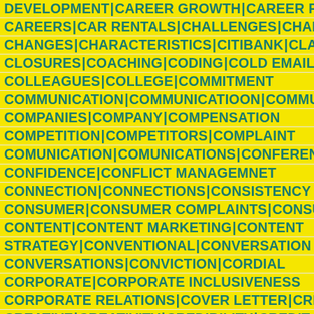DEVELOPMENT | CAREER GROWTH | CAREER PATH | CAREERS | CAR RENTALS | CHALLENGES | CHANGE | CHANGES | CHARACTERISTICS | CITIBANK | CLARITY | CLOSURES | COACHING | CODING | COLD EMAILS | COLLEAGUES | COLLEGE | COMMITMENT | COMMUNICATION | COMMUNICATIOON | COMMUNITY | COMPANIES | COMPANY | COMPENSATION | COMPETITION | COMPETITORS | COMPLAINT | COMUNICATION | COMUNICATIONS | CONFERENCE | CONFIDENCE | CONFLICT MANAGEMNET | CONNECTION | CONNECTIONS | CONSISTENCY | CONSUMER | CONSUMER COMPLAINTS | CONSUMERS | CONTENT | CONTENT MARKETING | CONTENT STRATEGY | CONVENTIONAL | CONVERSATION | CONVERSATIONS | CONVICTION | CORDIAL | CORPORATE | CORPORATE INCLUSIVENESS | CORPORATE RELATIONS | COVER LETTER | CREATION | CREATIVE | CREATIVITY | CREDIBILITY | CREDIT | CRICKET | CRISIL | CRM | CROMA | CRYPTO | CULTURALLY DIVERSE | CULTURE | CUSTOMER | CUSTOMER